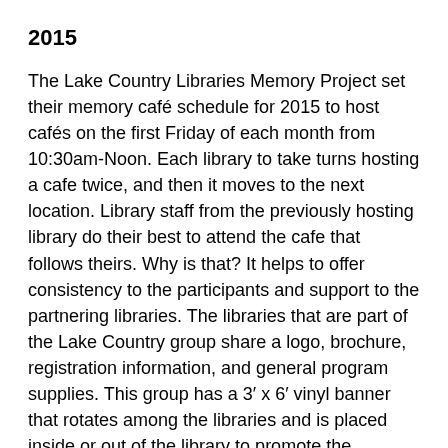2015
The Lake Country Libraries Memory Project set their memory café schedule for 2015 to host cafés on the first Friday of each month from 10:30am-Noon. Each library to take turns hosting a cafe twice, and then it moves to the next location. Library staff from the previously hosting library do their best to attend the cafe that follows theirs. Why is that? It helps to offer consistency to the participants and support to the partnering libraries. The libraries that are part of the Lake Country group share a logo, brochure, registration information, and general program supplies. This group has a 3′ x 6′ vinyl banner that rotates among the libraries and is placed inside or out of the library to promote the memory cafés. This group created and helps maintain the website www.librarymemoryproject.org.
Partway through the year, a few other libraries in the Bridges Library System started taking notice. They asked if they could come to a memory café and observe. Observe? No. Participate? Yes. All participants, volunteers, and memory café facilitators wear the same style of name tag and sit at the tables with each other. A number of library staff visited the library memory cafés in 2015 and before long, there was a new group of libraries eager to form their own memory